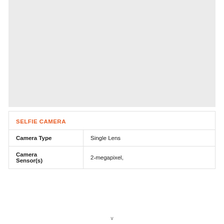[Figure (photo): Light gray placeholder image area for a product photo]
SELFIE CAMERA
| Camera Type | Single Lens |
| Camera Sensor(s) | 2-megapixel, |
v